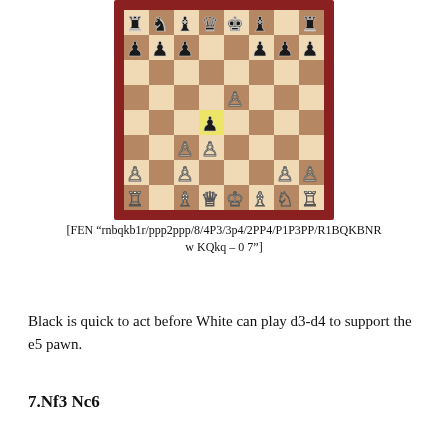[Figure (illustration): Chess board diagram showing a position after 6...d4, with FEN rnbqkb1r/ppp2ppp/8/4P3/3p4/2PP4/P1P3PP/R1BQKBNR w KQkq – 0 7. The d4 square is highlighted yellow with a black pawn on it. White has a pawn on e5, pawns on c2 and d3, pieces on back rank. Black pieces on top ranks.]
[FEN "rnbqkb1r/ppp2ppp/8/4P3/3p4/2PP4/P1P3PP/R1BQKBNR w KQkq – 0 7"]
Black is quick to act before White can play d3-d4 to support the e5 pawn.
7.Nf3 Nc6